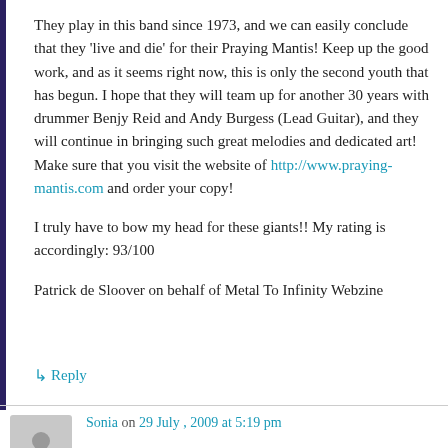They play in this band since 1973, and we can easily conclude that they 'live and die' for their Praying Mantis! Keep up the good work, and as it seems right now, this is only the second youth that has begun. I hope that they will team up for another 30 years with drummer Benjy Reid and Andy Burgess (Lead Guitar), and they will continue in bringing such great melodies and dedicated art! Make sure that you visit the website of http://www.praying-mantis.com and order your copy!
I truly have to bow my head for these giants!! My rating is accordingly: 93/100
Patrick de Sloover on behalf of Metal To Infinity Webzine
↳ Reply
Sonia on 29 July , 2009 at 5:19 pm
Rock Eyez Zine USA 'Sanctuary' Review
http://www.rockeyez.com/reviews/cd/praying-mantis/rev-praying-mantis-sanctuary-df.html